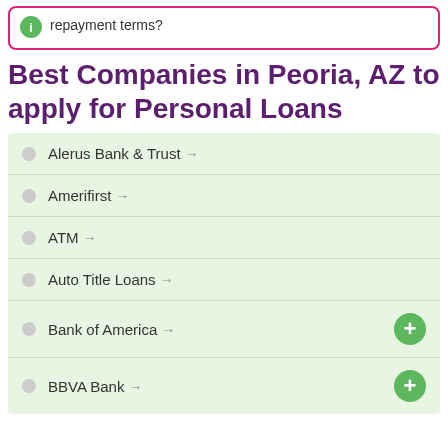repayment terms?
Best Companies in Peoria, AZ to apply for Personal Loans
Alerus Bank & Trust →
Amerifirst →
ATM →
Auto Title Loans →
Bank of America →
BBVA Bank →